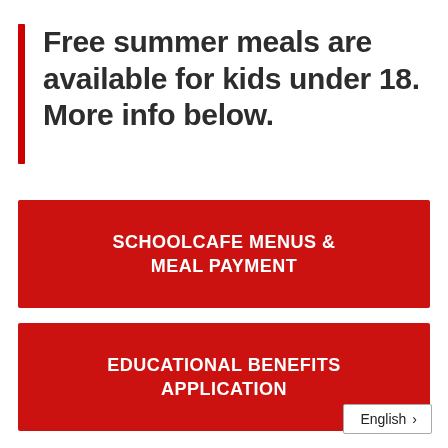Free summer meals are available for kids under 18. More info below.
SCHOOLCAFE MENUS & MEAL PAYMENT
EDUCATIONAL BENEFITS APPLICATION
English